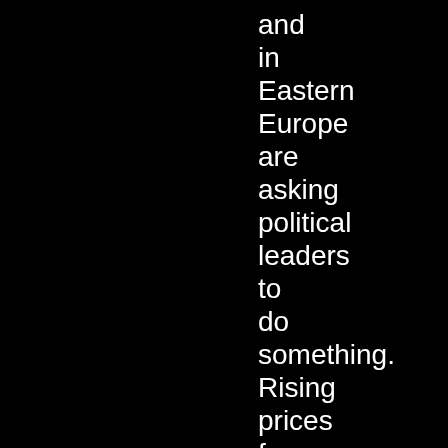and in Eastern Europe are asking political leaders to do something. Rising prices for basic goods, housing. Distribution networks